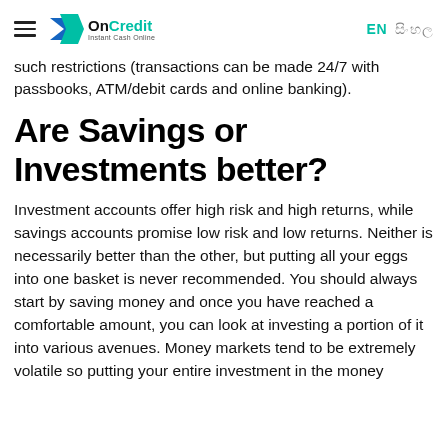OnCredit Instant Cash Online | EN | සිංහල
such restrictions (transactions can be made 24/7 with passbooks, ATM/debit cards and online banking).
Are Savings or Investments better?
Investment accounts offer high risk and high returns, while savings accounts promise low risk and low returns. Neither is necessarily better than the other, but putting all your eggs into one basket is never recommended. You should always start by saving money and once you have reached a comfortable amount, you can look at investing a portion of it into various avenues. Money markets tend to be extremely volatile so putting your entire investment in the money